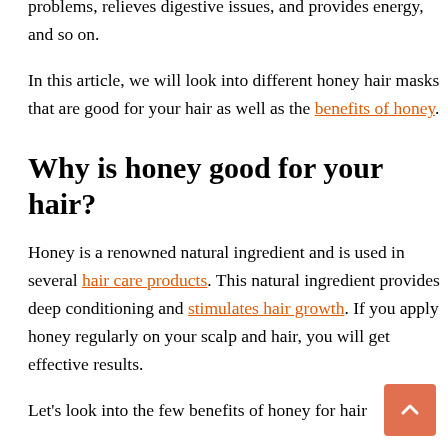problems, relieves digestive issues, and provides energy, and so on.
In this article, we will look into different honey hair masks that are good for your hair as well as the benefits of honey.
Why is honey good for your hair?
Honey is a renowned natural ingredient and is used in several hair care products. This natural ingredient provides deep conditioning and stimulates hair growth. If you apply honey regularly on your scalp and hair, you will get effective results.
Let's look into the few benefits of honey for hair